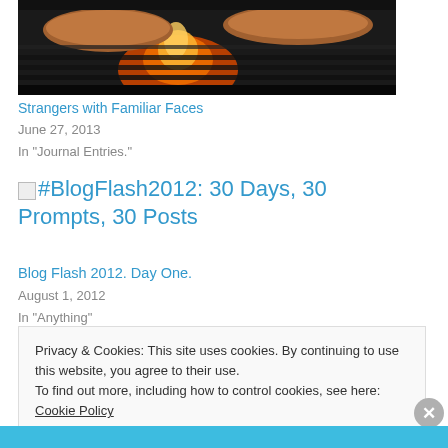[Figure (photo): Burgers grilling on a barbecue grill with open flames visible between the grill grates]
Strangers with Familiar Faces
June 27, 2013
In "Journal Entries."
#BlogFlash2012: 30 Days, 30 Prompts, 30 Posts
Blog Flash 2012. Day One.
August 1, 2012
In "Anything"
Privacy & Cookies: This site uses cookies. By continuing to use this website, you agree to their use.
To find out more, including how to control cookies, see here: Cookie Policy
Close and accept